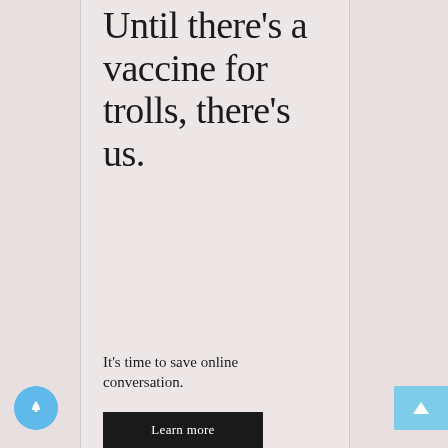[Figure (infographic): Advertisement card with light pinkish-beige background. Large serif headline text reads 'Until there's a vaccine for trolls, there's us.' followed by smaller text 'It's time to save online conversation.' and a dark button partially visible at the bottom reading 'Learn more'.]